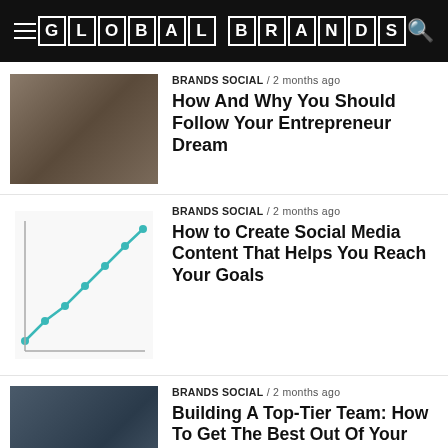GLOBAL BRANDS
BRANDS SOCIAL / 2 months ago
How And Why You Should Follow Your Entrepreneur Dream
BRANDS SOCIAL / 2 months ago
How to Create Social Media Content That Helps You Reach Your Goals
BRANDS SOCIAL / 2 months ago
Building A Top-Tier Team: How To Get The Best Out Of Your Employees
BRANDS SOCIAL / 2 months ago
Skills A Business Leader Needs To Develop
Translate »